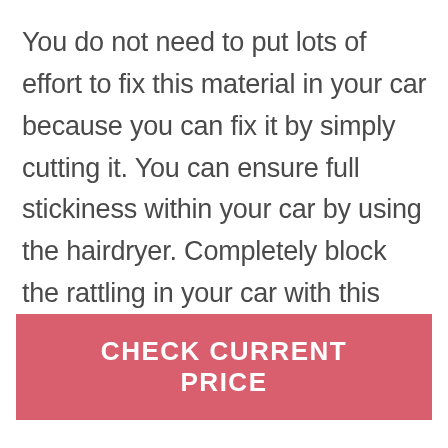You do not need to put lots of effort to fix this material in your car because you can fix it by simply cutting it. You can ensure full stickiness within your car by using the hairdryer. Completely block the rattling in your car with this superior product.
CHECK CURRENT PRICE